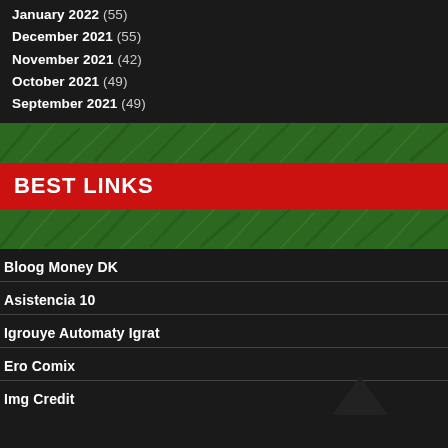January 2022 (55)
December 2021 (55)
November 2021 (42)
October 2021 (49)
September 2021 (49)
BEST LINKS
Bloog Money DK
Asistencia 10
Igrouye Automaty Igrat
Ero Comix
Img Credit